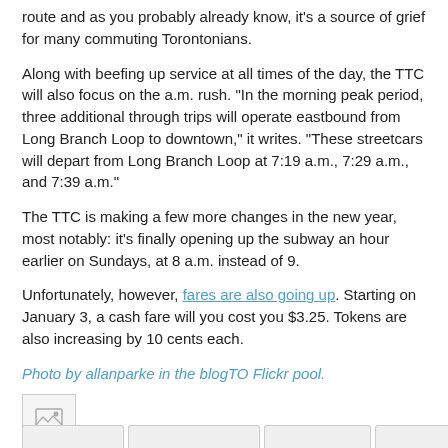route and as you probably already know, it's a source of grief for many commuting Torontonians.
Along with beefing up service at all times of the day, the TTC will also focus on the a.m. rush. "In the morning peak period, three additional through trips will operate eastbound from Long Branch Loop to downtown," it writes. "These streetcars will depart from Long Branch Loop at 7:19 a.m., 7:29 a.m., and 7:39 a.m."
The TTC is making a few more changes in the new year, most notably: it's finally opening up the subway an hour earlier on Sundays, at 8 a.m. instead of 9.
Unfortunately, however, fares are also going up. Starting on January 3, a cash fare will you cost you $3.25. Tokens are also increasing by 10 cents each.
Photo by allanparke in the blogTO Flickr pool.
[Figure (photo): Broken image placeholder icon]